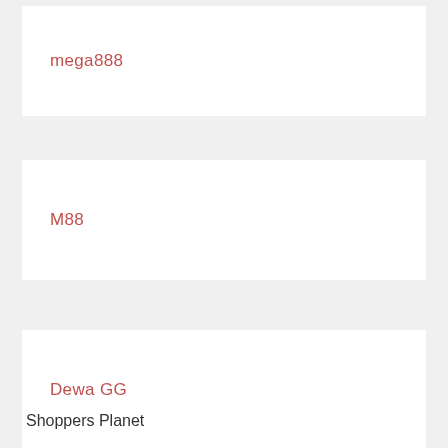mega888
M88
Dewa GG
██████
Shoppers Planet